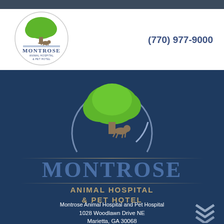[Figure (logo): Montrose Animal Hospital & Pet Hotel small logo with tree and animal silhouette in circle]
(770) 977-9000
[Figure (logo): Montrose Animal Hospital & Pet Hotel large logo with green tree and animal silhouette in blue circle arc on dark blue background]
MONTROSE
ANIMAL HOSPITAL & PET HOTEL
Montrose Animal Hospital and Pet Hospital
1028 Woodlawn Drive NE
Marietta, GA 30068
(770) 977-9000
Montrose Animal Hospital and Pet Hotel serving the pets of East Cobb, Marietta, Georgia, part of the Metro-Atlanta Community